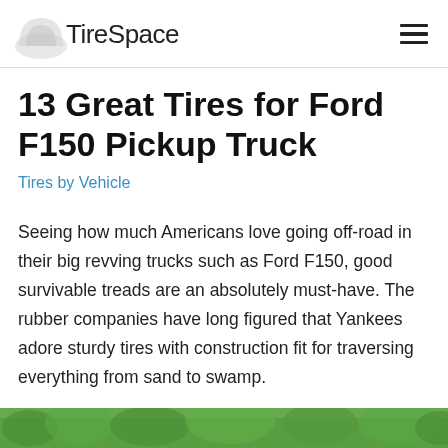TireSpace
13 Great Tires for Ford F150 Pickup Truck
Tires by Vehicle
Seeing how much Americans love going off-road in their big revving trucks such as Ford F150, good survivable treads are an absolutely must-have. The rubber companies have long figured that Yankees adore sturdy tires with construction fit for traversing everything from sand to swamp.
[Figure (photo): Bottom strip showing green trees/foliage — partial image at bottom of page]